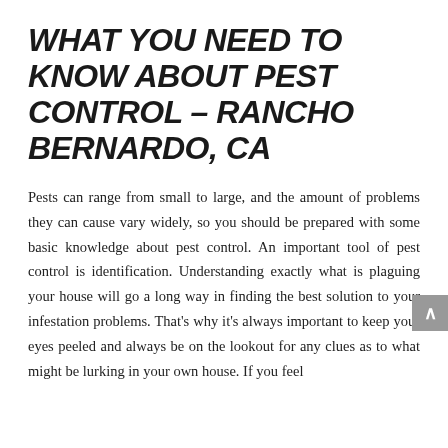WHAT YOU NEED TO KNOW ABOUT PEST CONTROL – RANCHO BERNARDO, CA
Pests can range from small to large, and the amount of problems they can cause vary widely, so you should be prepared with some basic knowledge about pest control. An important tool of pest control is identification. Understanding exactly what is plaguing your house will go a long way in finding the best solution to your infestation problems. That's why it's always important to keep your eyes peeled and always be on the lookout for any clues as to what might be lurking in your own house. If you feel the problem is getting worse, don't wait — do something about it.